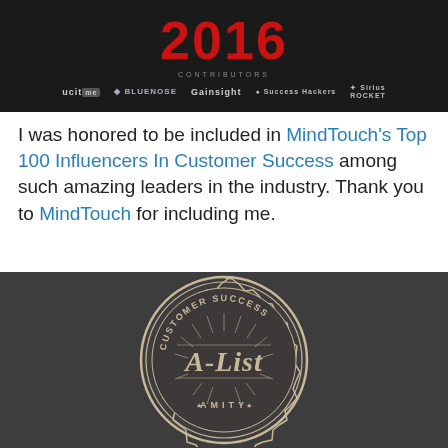[Figure (illustration): Dark background banner with large red '2016' year text, 'CONTRIBUTORS' label, and logos: uCit/me, Bluenose, Gainsight, Success Hackers, Siriusrocket]
I was honored to be included in MindTouch's Top 100 Influencers In Customer Success among such amazing leaders in the industry. Thank you to MindTouch for including me.
[Figure (logo): Dark circular badge/seal reading 'CUSTOMER SUCCESS A-List AMITY' on a dark gray background]